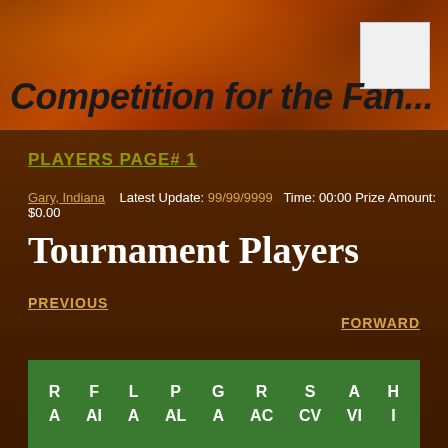Competition for the Fan...
PLAYERS PAGE# 1
Gary, Indiana   Latest Update: 99/99/9999   Time: 00:00 Prize Amount: $0.00
Tournament Players
PREVIOUS
FORWARD
| R | F | L | P | G | R | S | A | H |
| --- | --- | --- | --- | --- | --- | --- | --- | --- |
| A | AI | A | AL | A | AC | CV | VI | I |